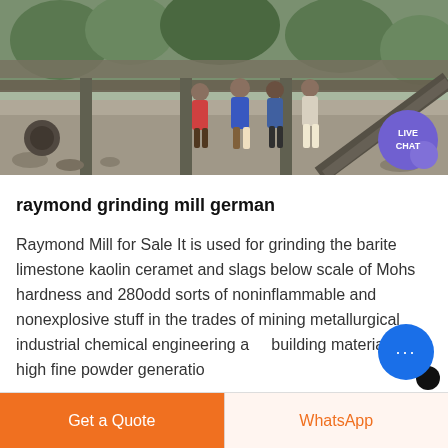[Figure (photo): Photograph of workers standing near heavy industrial/mining machinery and equipment at an outdoor site, with a 'LIVE CHAT' button overlay in the bottom-right corner.]
raymond grinding mill german
Raymond Mill for Sale It is used for grinding the barite limestone kaolin ceramet and slags below scale of Mohs hardness and 280odd sorts of noninflammable and nonexplosive stuff in the trades of mining metallurgical industrial chemical engineering and building material for high fine powder generation product size is adjustable in
Get a Quote    WhatsApp